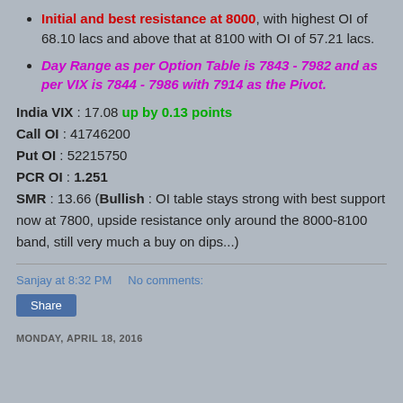Initial and best resistance at 8000, with highest OI of 68.10 lacs and above that at 8100 with OI of 57.21 lacs.
Day Range as per Option Table is 7843 - 7982 and as per VIX is 7844 - 7986 with 7914 as the Pivot.
India VIX : 17.08 up by 0.13 points
Call OI : 41746200
Put OI : 52215750
PCR OI : 1.251
SMR : 13.66 (Bullish : OI table stays strong with best support now at 7800, upside resistance only around the 8000-8100 band, still very much a buy on dips...)
Sanjay at 8:32 PM   No comments:
MONDAY, APRIL 18, 2016